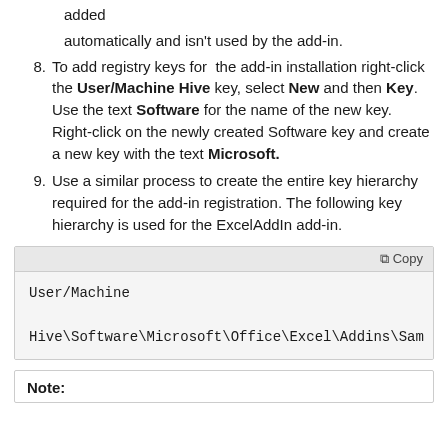added automatically and isn't used by the add-in.
To add registry keys for the add-in installation right-click the User/Machine Hive key, select New and then Key. Use the text Software for the name of the new key. Right-click on the newly created Software key and create a new key with the text Microsoft.
Use a similar process to create the entire key hierarchy required for the add-in registration. The following key hierarchy is used for the ExcelAddIn add-in.
[Figure (screenshot): Code block showing registry key path: User/Machine Hive\Software\Microsoft\Office\Excel\Addins\Sam... with a Copy button in the toolbar]
Note: